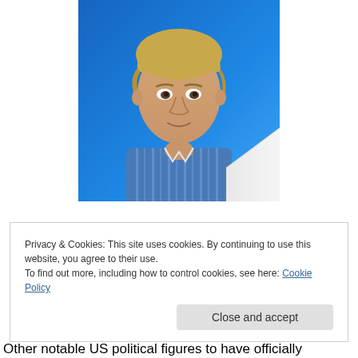[Figure (photo): Portrait photo of a young blond man in a blue and white striped shirt against a blue background, looking at the camera with a neutral expression. The bottom-right corner shows a white object partially in frame.]
Privacy & Cookies: This site uses cookies. By continuing to use this website, you agree to their use.
To find out more, including how to control cookies, see here: Cookie Policy
Close and accept
Other notable US political figures to have officially